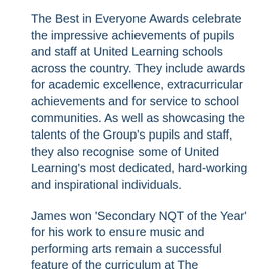The Best in Everyone Awards celebrate the impressive achievements of pupils and staff at United Learning schools across the country. They include awards for academic excellence, extracurricular achievements and for service to school communities. As well as showcasing the talents of the Group's pupils and staff, they also recognise some of United Learning's most dedicated, hard-working and inspirational individuals.
James won 'Secondary NQT of the Year' for his work to ensure music and performing arts remain a successful feature of the curriculum at The Totteridge Academy, despite a [continues below]